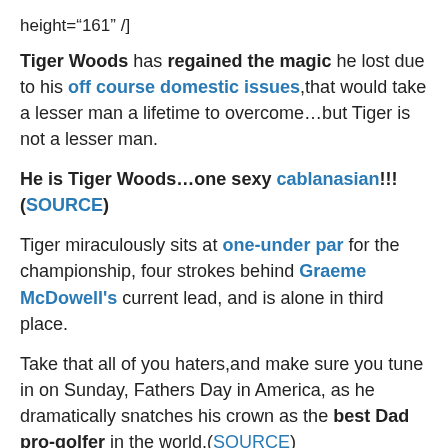height="161" /]
Tiger Woods has regained the magic he lost due to his off course domestic issues,that would take a lesser man a lifetime to overcome…but Tiger is not a lesser man.
He is Tiger Woods…one sexy cablanasian!!!(SOURCE)
Tiger miraculously sits at one-under par for the championship, four strokes behind Graeme McDowell's current lead, and is alone in third place.
Take that all of you haters,and make sure you tune in on Sunday, Fathers Day in America, as he dramatically snatches his crown as the best Dad pro-golfer in the world.(SOURCE)
[picapp align="center" wrap="false"